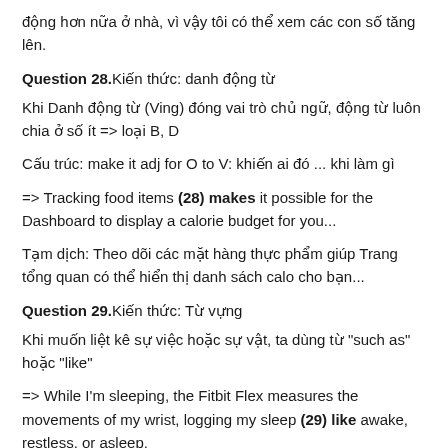động hơn nữa ở nhà, vì vậy tôi có thể xem các con số tăng lên.
Question 28.Kiến thức: danh động từ
Khi Danh động từ (Ving) đóng vai trò chủ ngữ, động từ luôn chia ở số ít => loại B, D
Cấu trúc: make it adj for O to V: khiến ai đó ... khi làm gì
=> Tracking food items (28) makes it possible for the Dashboard to display a calorie budget for you...
Tạm dịch: Theo dõi các mặt hàng thực phẩm giúp Trang tổng quan có thể hiển thị danh sách calo cho bạn...
Question 29.Kiến thức: Từ vựng
Khi muốn liệt kê sự việc hoặc sự vật, ta dùng từ "such as" hoặc "like"
=> While I'm sleeping, the Fitbit Flex measures the movements of my wrist, logging my sleep (29) like awake, restless, or asleep.